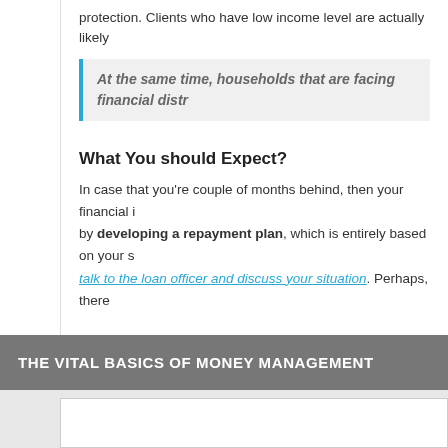protection. Clients who have low income level are actually likely
At the same time, households that are facing financial distr
What You should Expect?
In case that you're couple of months behind, then your financial i by developing a repayment plan, which is entirely based on your s talk to the loan officer and discuss your situation. Perhaps, there
THE VITAL BASICS OF MONEY MANAGEMENT